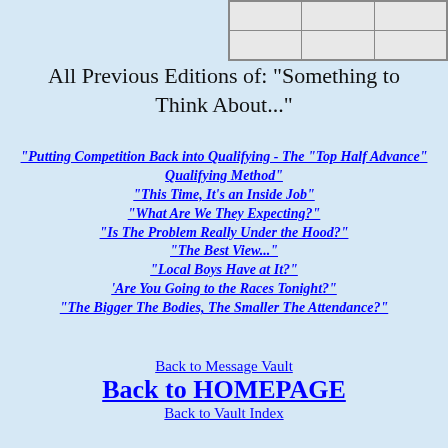[Figure (table-as-image): Partial table visible at top-right corner with gray bordered cells]
All Previous Editions of: "Something to Think About..."
"Putting Competition Back into Qualifying - The "Top Half Advance" Qualifying Method"
"This Time, It's an Inside Job"
"What Are We They Expecting?"
"Is The Problem Really Under the Hood?"
"The Best View..."
"Local Boys Have at It?"
'Are You Going to the Races Tonight?"
"The Bigger The Bodies, The Smaller The Attendance?"
Back to Message Vault
Back to HOMEPAGE
Back to Vault Index